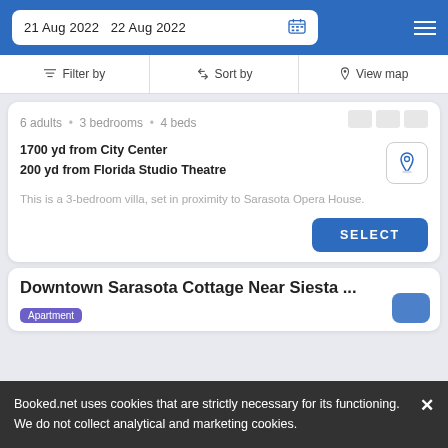21 Aug 2022   22 Aug 2022
Filter by   Sort by   View map
6 adults · 3 bedrooms · 4 beds
1700 yd from City Center
200 yd from Florida Studio Theatre
This is a 3-bedroom villa, set in proximity to Sarasota Opera House.
SELECT
Downtown Sarasota Cottage Near Siesta ...
Apartment
Booked.net uses cookies that are strictly necessary for its functioning. We do not collect analytical and marketing cookies.